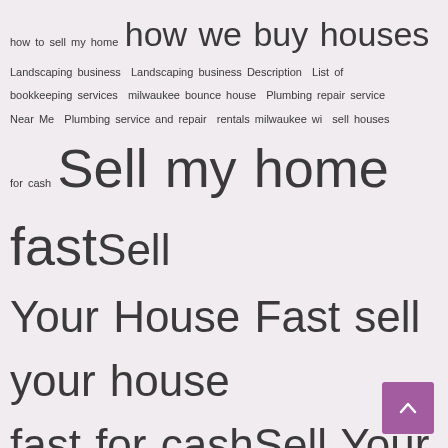how to sell my home how we buy houses Landscaping business Landscaping business Description List of bookkeeping services milwaukee bounce house Plumbing repair service Near Me Plumbing service and repair rentals milwaukee wi sell houses for cash Sell my home fast Sell Your House Fast sell your house fast for cash Sell Your House Fast In Milwaukee Sell Your Milwaukee Home Fast We Buy Houses We Buy Houses Anywhere In Milwaukee we buy houses columbia we buy houses columbia sc we buy houses milwaukee We Buy Milwaukee Houses for Cash